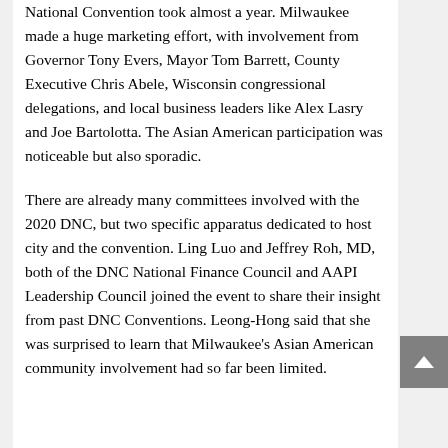National Convention took almost a year. Milwaukee made a huge marketing effort, with involvement from Governor Tony Evers, Mayor Tom Barrett, County Executive Chris Abele, Wisconsin congressional delegations, and local business leaders like Alex Lasry and Joe Bartolotta. The Asian American participation was noticeable but also sporadic.
There are already many committees involved with the 2020 DNC, but two specific apparatus dedicated to host city and the convention. Ling Luo and Jeffrey Roh, MD, both of the DNC National Finance Council and AAPI Leadership Council joined the event to share their insight from past DNC Conventions. Leong-Hong said that she was surprised to learn that Milwaukee's Asian American community involvement had so far been limited.